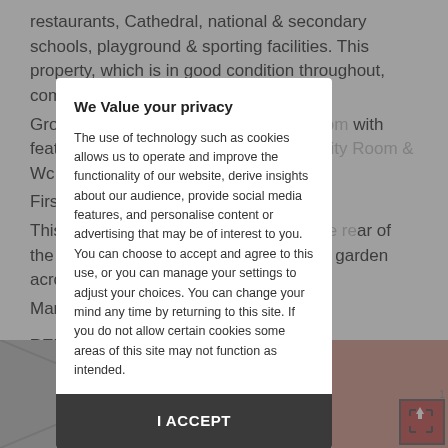restaurants, Cathedral, national & secondary schools, playground & sporting facilities. This property, which is in good condition throughout, comprises briefly:
Ground Floor: Entrance Hall, Sitting Room with feature fireplace, Kitchen, Bedroom, Utility Room & Wc.
First Floor: 3 Bedrooms and Bathroom.
This property includes utility sheds to the rear of the property and a well maintained back garden across the backway.
Many features include OFCH
BER Details
BER: E1 BER No 11361 500 Energy Performance Indicator:311.26 kWh/m2hr
[Figure (photo): Property photo at bottom of page, partially visible]
We Value your privacy

The use of technology such as cookies allows us to operate and improve the functionality of our website, derive insights about our audience, provide social media features, and personalise content or advertising that may be of interest to you. You can choose to accept and agree to this use, or you can manage your settings to adjust your choices. You can change your mind any time by returning to this site. If you do not allow certain cookies some areas of this site may not function as intended.

I ACCEPT